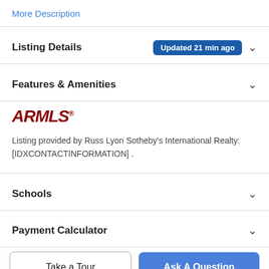More Description
Listing Details Updated 21 min ago
Features & Amenities
[Figure (logo): ARMLS logo in dark red italic bold text]
Listing provided by Russ Lyon Sotheby's International Realty: [IDXCONTACTINFORMATION] .
Schools
Payment Calculator
Take a Tour
Ask A Question